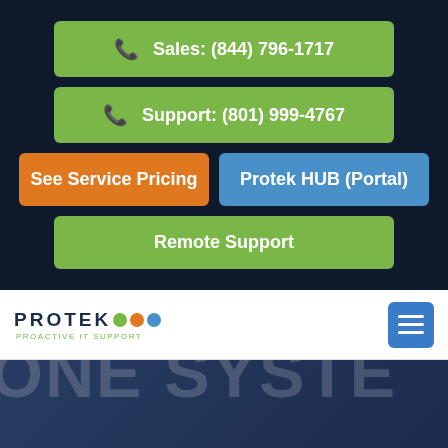Sales: (844) 796-1717
Support: (801) 999-4767
See Service Pricing
Protek HUB (Portal)
Remote Support
[Figure (logo): Protek logo with colored dots and tagline 'Proactive IT Support']
ONE SYSTE (partial hero text)